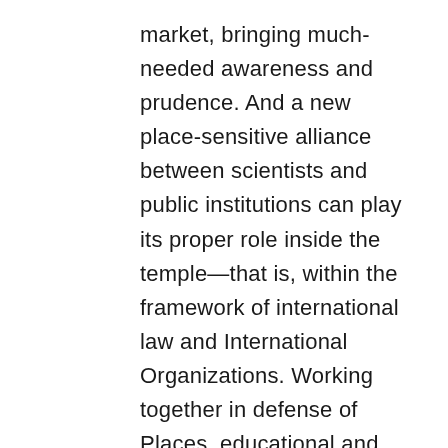market, bringing much-needed awareness and prudence. And a new place-sensitive alliance between scientists and public institutions can play its proper role inside the temple—that is, within the framework of international law and International Organizations. Working together in defense of Places, educational and public institutions can ensure that the heritage of humanity is not only included in UNESCO's registers as in souvenir scrapbooks, but also protected in real life and through Place-fair competition.